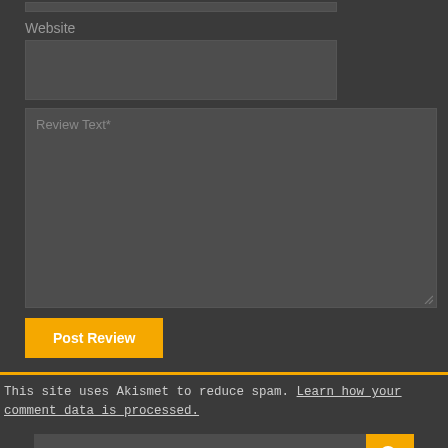Website
Review Text*
Post Review
This site uses Akismet to reduce spam. Learn how your comment data is processed.
Search
#1 FOREX ROBOT / EXPERT ADVISOR?